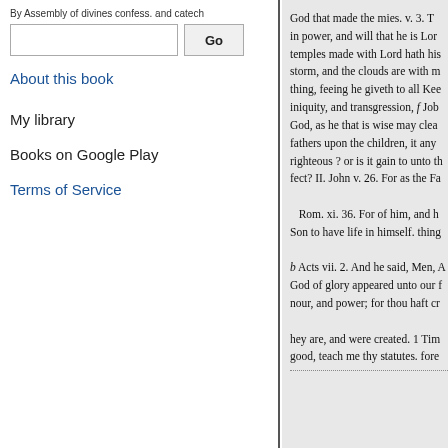By Assembly of divines confess. and catech
Go
About this book
My library
Books on Google Play
Terms of Service
God that made the mies. v. 3. T in power, and will that he is Lor temples made with Lord hath his storm, and the clouds are with m thing, feeing he giveth to all Kee iniquity, and transgression, f Job God, as he that is wise may clea fathers upon the children, it any righteous ? or is it gain to unto th fect? II. John v. 26. For as the Fa Rom. xi. 36. For of him, and h Son to have life in himself. thing b Acts vii. 2. And he said, Men, A God of glory appeared unto our iour, and power; for thou haft cr hey are, and were created. 1 Tim good, teach me thy statutes. fore